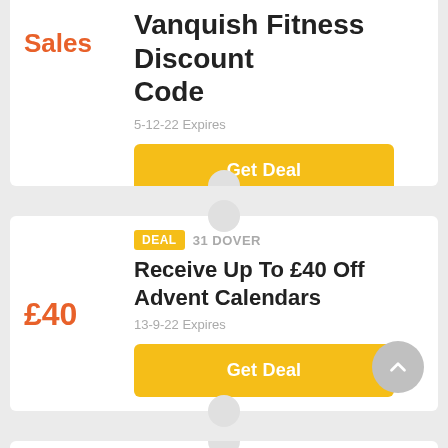Sales
Vanquish Fitness Discount Code
5-12-22 Expires
Get Deal
DEAL  31 DOVER
Receive Up To £40 Off Advent Calendars
£40
13-9-22 Expires
Get Deal
DEAL  31 DOVER
Special Offers With